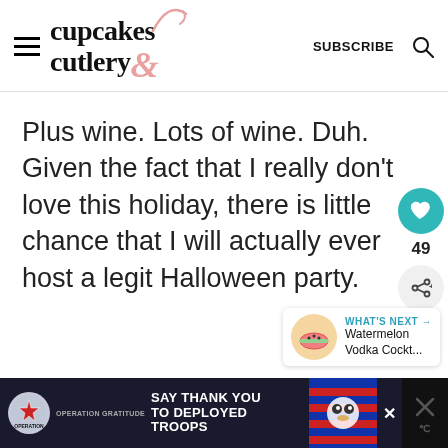cupcakes & cutlery — SUBSCRIBE
Plus wine. Lots of wine. Duh. Given the fact that I really don't love this holiday, there is little chance that I will actually ever host a legit Halloween party.
[Figure (screenshot): Like button (heart icon, teal circle) with count 49, and share button below]
[Figure (screenshot): What's Next widget showing Watermelon Vodka Cockt... with circular thumbnail]
[Figure (infographic): Ad banner: Operation Gratitude - SAY THANK YOU TO DEPLOYED TROOPS with patriotic imagery]